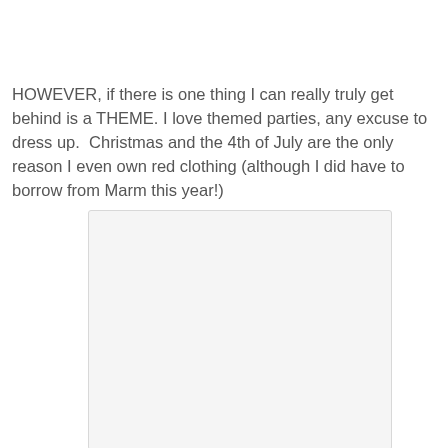HOWEVER, if there is one thing I can really truly get behind is a THEME. I love themed parties, any excuse to dress up.  Christmas and the 4th of July are the only reason I even own red clothing (although I did have to borrow from Marm this year!)
[Figure (photo): A white/blank rectangular image placeholder with light gray background and border]